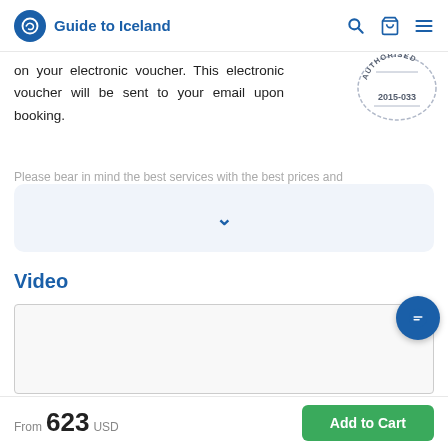Guide to Iceland
on your electronic voucher. This electronic voucher will be sent to your email upon booking.
[Figure (other): Authorised stamp with text AUTHORISED and code 2015-033]
Please bear in mind the best services with the best prices and
[Figure (other): Collapsed content section with chevron down icon on light blue background]
Video
[Figure (other): Video embed placeholder area with gray border]
From 623 USD  Add to Cart